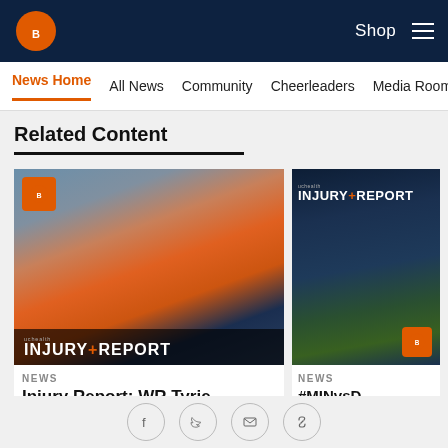Denver Broncos website header with logo, Shop link, and hamburger menu
News Home | All News | Community | Cheerleaders | Media Room
Related Content
[Figure (photo): Denver Broncos player #16 in orange jersey carrying a football at practice, with Injury Report overlay]
NEWS
Injury Report: WR Tyrie
[Figure (photo): Injury Report card with dark blue background and grass, Broncos logo badge]
NEWS
#MINvsD
[Figure (infographic): Social share buttons: Facebook, Twitter, Email, Link]